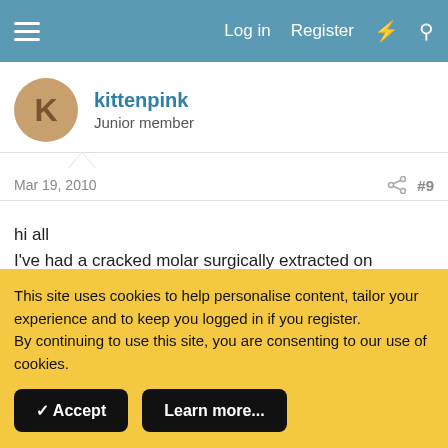Log in  Register
kittenpink
Junior member
Mar 19, 2010  #9
hi all
I've had a cracked molar surgically extracted on wednesday- today is the worst day so far, pain and swelling - can anyone tell me when I'll be able to eat on that side ? Its upper left side. Feeling v sorry for myself today!
This site uses cookies to help personalise content, tailor your experience and to keep you logged in if you register.
By continuing to use this site, you are consenting to our use of cookies.
✓ Accept  Learn more...